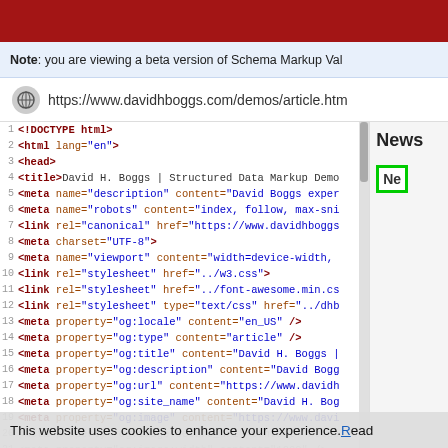[Figure (screenshot): Red banner at top of webpage screenshot]
Note: you are viewing a beta version of Schema Markup Val
https://www.davidhboggs.com/demos/article.htm
[Figure (screenshot): HTML source code view showing lines 1-21 of a web page, with syntax highlighting. Tags in dark red, attribute names in orange, attribute values in blue. Lines shown: 1 <!DOCTYPE html>, 2 <html lang="en">, 3 <head>, 4 <title>David H. Boggs | Structured Data Markup Demo..., 5 <meta name="description" content="David Boggs exper..., 6 <meta name="robots" content="index, follow, max-sni..., 7 <link rel="canonical" href="https://www.davidhboggs..., 8 <meta charset="UTF-8">, 9 <meta name="viewport" content="width=device-width,..., 10 <link rel="stylesheet" href="../w3.css">, 11 <link rel="stylesheet" href="../font-awesome.min.cs..., 12 <link rel="stylesheet" type="text/css" href="../dhb..., 13 <meta property="og:locale" content="en_US" />, 14 <meta property="og:type" content="article" />, 15 <meta property="og:title" content="David H. Boggs |..., 16 <meta property="og:description" content="David Bogg..., 17 <meta property="og:url" content="https://www.davidh..., 18 <meta property="og:site_name" content="David H. Bog..., 19 <meta property="og:image" content="https://www.davi..., 20 <meta property="og:image:secure_url" content="https..., 21 <meta property="og:image:width" content="1200" />]
News
Ne
This website uses cookies to enhance your experience. Read